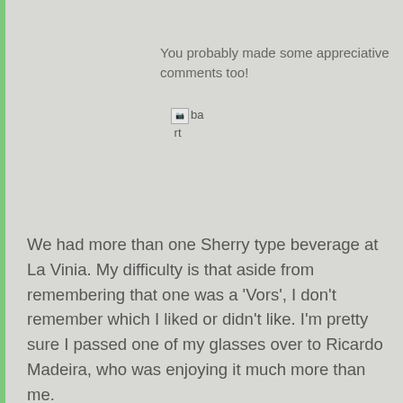You probably made some appreciative comments too!
[Figure (other): Broken image placeholder labeled 'ba rt']
We had more than one Sherry type beverage at La Vinia. My difficulty is that aside from remembering that one was a 'Vors', I don't remember which I liked or didn't like. I'm pretty sure I passed one of my glasses over to Ricardo Madeira, who was enjoying it much more than me.